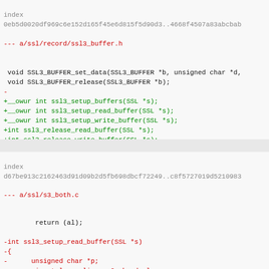index
0eb5d0020df969c6e152d165f45e6d815f5d90d3..4668f4507a83abcbab
100644 (file)
--- a/ssl/record/ssl3_buffer.h
+++ b/ssl/record/ssl3_buffer.h
@@ -129,4 +129,8 @@ typedef struct ssl3_buffer_st {
void SSL3_BUFFER_set_data(SSL3_BUFFER *b, unsigned char *d,
 void SSL3_BUFFER_release(SSL3_BUFFER *b);
-
+__owur int ssl3_setup_buffers(SSL *s);
+__owur int ssl3_setup_read_buffer(SSL *s);
+__owur int ssl3_setup_write_buffer(SSL *s);
+int ssl3_release_read_buffer(SSL *s);
+int ssl3_release_write_buffer(SSL *s);
diff --git a/ssl/s3_both.c b/ssl/s3_both.c
index
d67be913c2162463d91d09b2d5fb698dbcf72249..c8f5727019d5210983
100644 (file)
--- a/ssl/s3_both.c
+++ b/ssl/s3_both.c
@@ -573,122 +573,6 @@ int ssl_verify_alarm_type(long type)
return (al);
 }
-int ssl3_setup_read_buffer(SSL *s)
-{
-      unsigned char *p;
-      size_t len, align = 0, headerlen;
-      SSL3_BUFFER *b;
-